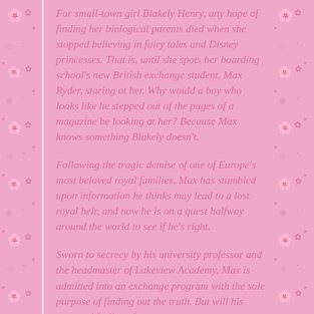For small-town girl Blakely Henry, any hope of finding her biological parents died when she stopped believing in fairy tales and Disney princesses. That is, until she spots her boarding school's new British exchange student, Max Ryder, staring at her. Why would a boy who looks like he stepped out of the pages of a magazine be looking at her? Because Max knows something Blakely doesn't.
Following the tragic demise of one of Europe's most beloved royal families, Max has stumbled upon information he thinks may lead to a lost royal heir, and now he is on a quest halfway around the world to see if he's right.
Sworn to secrecy by his university professor and the headmaster of Lakeview Academy, Max is admitted into an exchange program with the sole purpose of finding out the truth. But will his personal feelings for